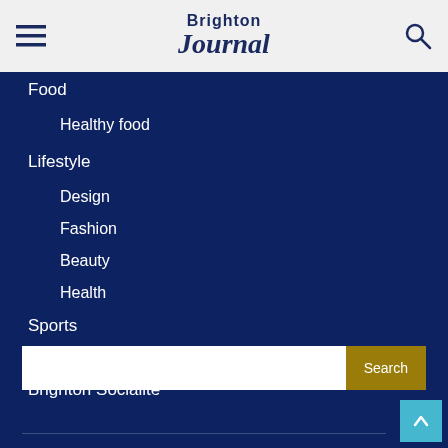Brighton Journal
Food
Healthy food
Lifestyle
Design
Fashion
Beauty
Health
Sports
Culture
Brighton Socialite
Search